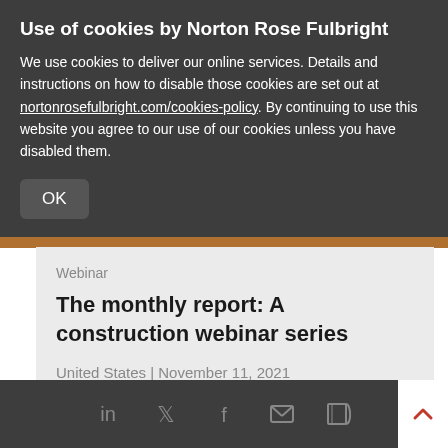Use of cookies by Norton Rose Fulbright
We use cookies to deliver our online services. Details and instructions on how to disable those cookies are set out at nortonrosefulbright.com/cookies-policy. By continuing to use this website you agree to our use of our cookies unless you have disabled them.
OK
Webinar
The monthly report: A construction webinar series
United States | November 11, 2021
Construction and engineering